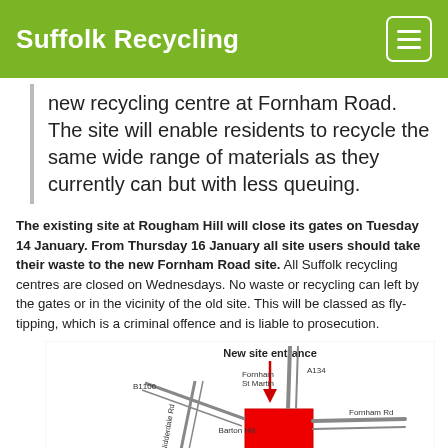Suffolk Recycling
new recycling centre at Fornham Road. The site will enable residents to recycle the same wide range of materials as they currently can but with less queuing.
The existing site at Rougham Hill will close its gates on Tuesday 14 January. From Thursday 16 January all site users should take their waste to the new Fornham Road site. All Suffolk recycling centres are closed on Wednesdays. No waste or recycling can left by the gates or in the vicinity of the old site. This will be classed as fly-tipping, which is a criminal offence and is liable to prosecution.
[Figure (map): Street map showing the new recycling site entrance on Fornham Road near Fornham St Martin, Barton Hill, with A134, A143, A1101, B1106 roads labeled, and the new site highlighted in red with an arrow labeled 'New site entrance'.]